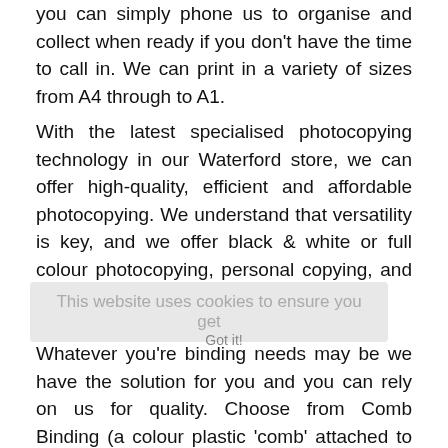you can simply phone us to organise and collect when ready if you don't have the time to call in. We can print in a variety of sizes from A4 through to A1.
With the latest specialised photocopying technology in our Waterford store, we can offer high-quality, efficient and affordable photocopying. We understand that versatility is key, and we offer black & white or full colour photocopying, personal copying, and business photocopying for bulk orders.
This website uses cookies to ensure you get
Whatever you're binding needs may be we have the solution for you and you can rely on us for quality. Choose from Comb Binding (a colour plastic 'comb' attached to the document spine) or Unibind (a binding method utilising the latest steel binding tech, which uses resin, rather than glue, in a steel channel